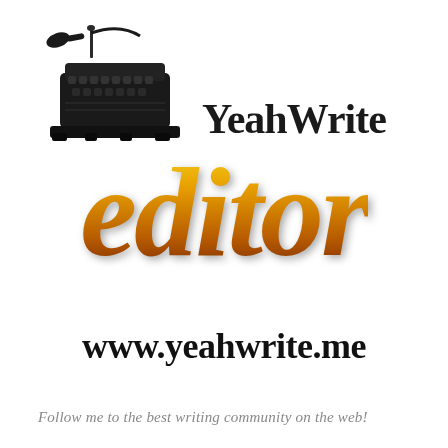[Figure (logo): YeahWrite editor logo with vintage typewriter illustration on the left and 'YeahWrite' text in bold serif on the right, large stylized gold-to-brown gradient italic 'editor' text below, URL 'www.yeahwrite.me' in bold black serif, and italic gray tagline at bottom]
www.yeahwrite.me
Follow me to the best writing community on the web!